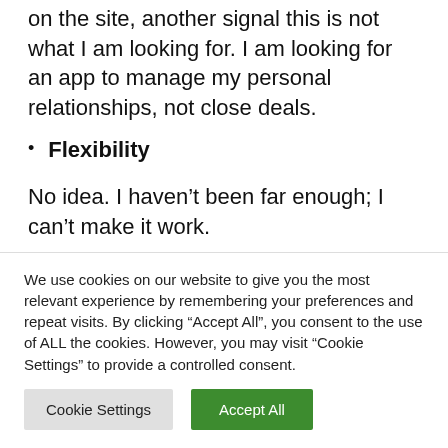A Salesforce integration is promoted heavily on the site, another signal this is not what I am looking for. I am looking for an app to manage my personal relationships, not close deals.
Flexibility
No idea. I haven't been far enough; I can't make it work.
Cost
We use cookies on our website to give you the most relevant experience by remembering your preferences and repeat visits. By clicking "Accept All", you consent to the use of ALL the cookies. However, you may visit "Cookie Settings" to provide a controlled consent.